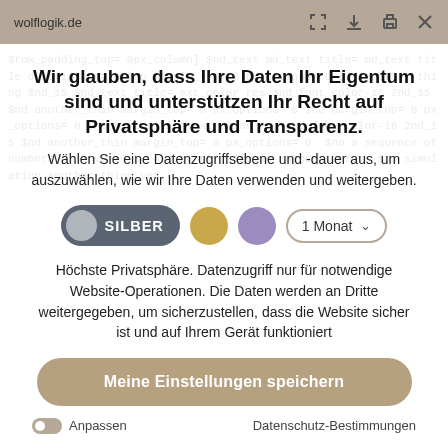wolflogik.de
Wir glauben, dass Ihre Daten Ihr Eigentum sind und unterstützen Ihr Recht auf Privatsphäre und Transparenz.
Wählen Sie eine Datenzugriffsebene und -dauer aus, um auszuwählen, wie wir Ihre Daten verwenden und weitergeben.
SILBER | Gold circle | Purple circle | 1 Monat dropdown
Höchste Privatsphäre. Datenzugriff nur für notwendige Website-Operationen. Die Daten werden an Dritte weitergegeben, um sicherzustellen, dass die Website sicher ist und auf Ihrem Gerät funktioniert
Meine Einstellungen speichern
Anpassen    Datenschutz-Bestimmungen